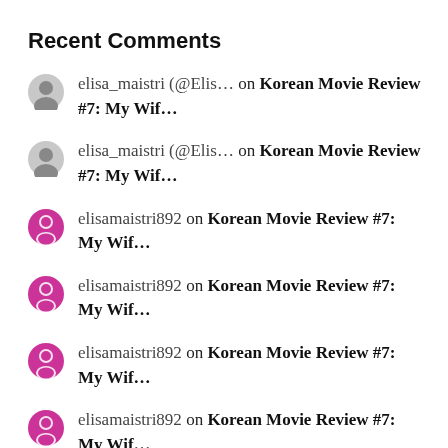Recent Comments
elisa_maistri (@Elis… on Korean Movie Review #7: My Wif…
elisa_maistri (@Elis… on Korean Movie Review #7: My Wif…
elisamaistri892 on Korean Movie Review #7: My Wif…
elisamaistri892 on Korean Movie Review #7: My Wif…
elisamaistri892 on Korean Movie Review #7: My Wif…
elisamaistri892 on Korean Movie Review #7: My Wif…
elisamaistri89 on Korean Movie Review #7: My Wif…